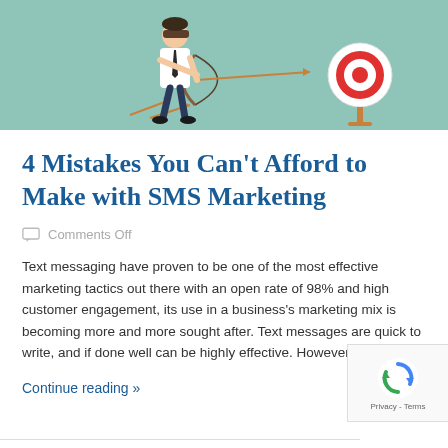[Figure (illustration): Illustration of a blindfolded businessman in a white shirt and tie shooting arrows with a bow, missing a target on the right, set against a teal/mint background.]
4 Mistakes You Can't Afford to Make with SMS Marketing
Comments Off
Text messaging have proven to be one of the most effective marketing tactics out there with an open rate of 98% and high customer engagement, its use in a business's marketing mix is becoming more and more sought after. Text messages are quick to write, and if done well can be highly effective. However, as [...]
Continue reading »